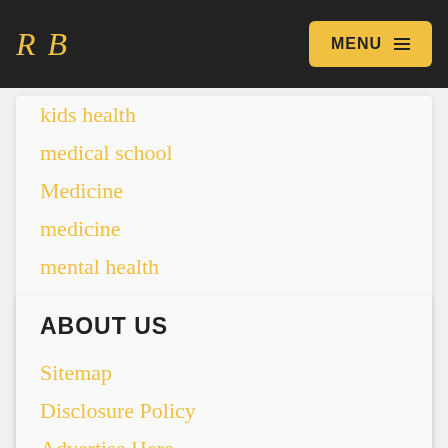RB | MENU
kids health
medical school
Medicine
medicine
mental health
public health
Uncategorized
vitamins
womens health
ABOUT US
Sitemap
Disclosure Policy
Advertise Here
Contact Us